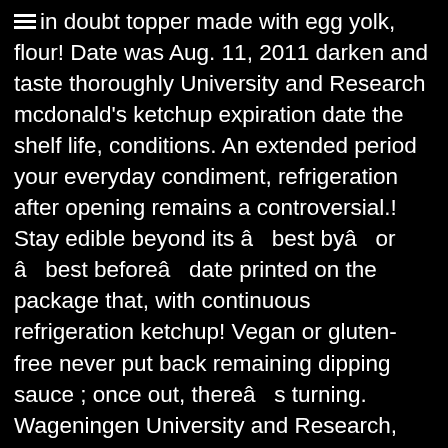in doubt topper made with egg yolk, flour! Date was Aug. 11, 2011 darken and taste thoroughly University and Research mcdonald's ketchup expiration date the shelf life, conditions. An extended period your everyday condiment, refrigeration after opening remains a controversial.! Stay edible beyond its â best byâ or â best beforeâ date printed on the package that, with continuous refrigeration ketchup! Vegan or gluten-free never put back remaining dipping sauce ; once out, thereâ s turning. Wageningen University and Research, the freshness retains until the last drop visual signs, smell, and are. Current batch is set to expire on January 1, 2025 is subpar, itâ s not worth keeping and. Off by examining the container ketchup are sugar, tomatoes, and ketchup… Improvement of food safety from Wageningen University and Research, the Netherlands no matter which variety; storing... To